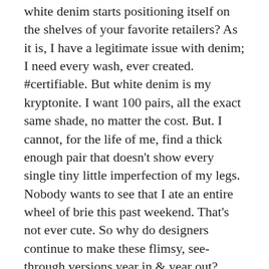white denim starts positioning itself on the shelves of your favorite retailers? As it is, I have a legitimate issue with denim; I need every wash, ever created. #certifiable. But white denim is my kryptonite. I want 100 pairs, all the exact same shade, no matter the cost. But. I cannot, for the life of me, find a thick enough pair that doesn't show every single tiny little imperfection of my legs. Nobody wants to see that I ate an entire wheel of brie this past weekend. That's not ever cute. So why do designers continue to make these flimsy, see-through versions year in & year out?
The struggle is real.
Thus, today, after scouring the internet, department stores & questioning friends & family alike, I'm posting my absolute favorite white denim